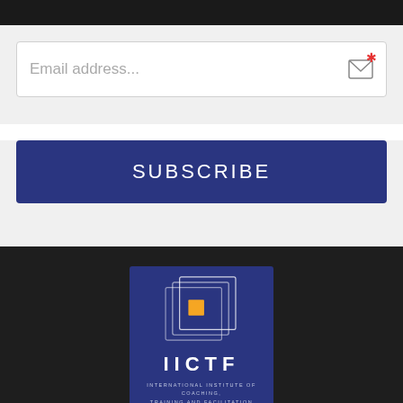[Figure (other): Black banner bar at top of page]
Email address...
SUBSCRIBE
[Figure (logo): IICTF logo — International Institute of Coaching, Training and Facilitation — dark blue square with nested square outlines and orange square, text IICTF and full name below]
STAY UPDATED